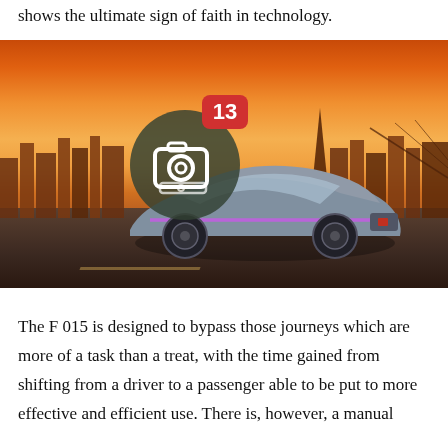shows the ultimate sign of faith in technology.
[Figure (photo): A futuristic autonomous concept car (Mercedes-Benz F 015) photographed on a road against a sunset cityscape background (San Francisco skyline). A circular camera icon with a notification badge showing '13' is overlaid in the center of the image.]
The F 015 is designed to bypass those journeys which are more of a task than a treat, with the time gained from shifting from a driver to a passenger able to be put to more effective and efficient use. There is, however, a manual